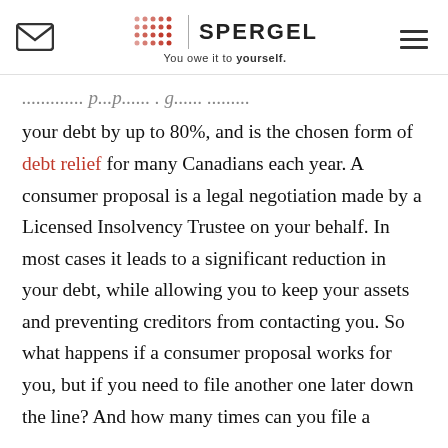SPERGEL – You owe it to yourself.
...consumer proposal is a great way, reducing your debt by up to 80%, and is the chosen form of debt relief for many Canadians each year. A consumer proposal is a legal negotiation made by a Licensed Insolvency Trustee on your behalf. In most cases it leads to a significant reduction in your debt, while allowing you to keep your assets and preventing creditors from contacting you. So what happens if a consumer proposal works for you, but if you need to file another one later down the line? And how many times can you file a